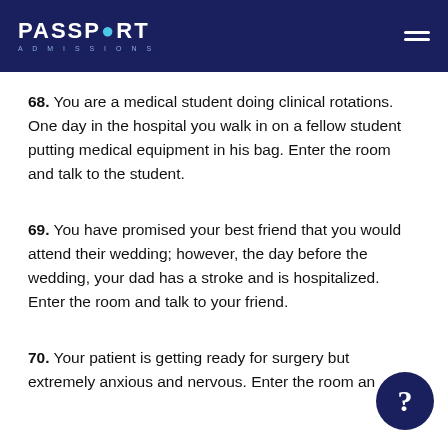PASSPORT ADMISSIONS
68. You are a medical student doing clinical rotations. One day in the hospital you walk in on a fellow student putting medical equipment in his bag. Enter the room and talk to the student.
69. You have promised your best friend that you would attend their wedding; however, the day before the wedding, your dad has a stroke and is hospitalized. Enter the room and talk to your friend.
70. Your patient is getting ready for surgery but extremely anxious and nervous. Enter the room and talk